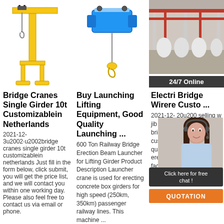[Figure (illustration): Yellow jib/pillar crane illustration]
[Figure (illustration): Blue electric wire rope hoist illustration]
[Figure (photo): Warehouse interior with red overhead bridge crane]
24/7 Online
Bridge Cranes Single Girder 10t Customizablein Netherlands
2021-12-3u2002·u2002bridge cranes single girder 10t customizablein netherlands Just fill in the form below, click submit, you will get the price list, and we will contact you within one working day. Please also feel free to contact us via email or phone.
Buy Launching Lifting Equipment, Good Quality Launching ...
600 Ton Railway Bridge Erection Beam Launcher for Lifting Girder Product Description Launcher crane is used for erecting concrete box girders for high speed (250km, 350km) passenger railway lines. This machine ...
Electri Bridge Wirere Custo ...
2021-12- 20u200 selling w jib crane,high speed way bridge girder launcher customized in peru,hot quality 300t bridge erection beam launcher factory in africa,clamp gra bridge crane importer in spain,what's the
[Figure (photo): Customer service agent photo with chat popup showing '24/7 Online', 'Click here for free chat!' and QUOTATION button]